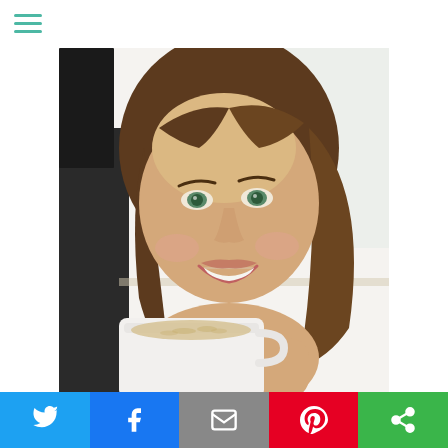[Figure (photo): Smiling woman with long brown hair holding a white mug, selfie-style photo taken in a bright indoor setting]
Artist | Planner | Journaler | Card Maker
Promoter of Kindness & Inspiration
[Figure (other): Social share bar with Twitter, Facebook, Email, Pinterest, and More Options buttons]